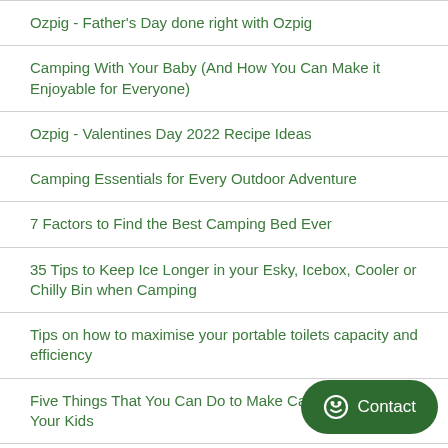Ozpig - Father's Day done right with Ozpig
Camping With Your Baby (And How You Can Make it Enjoyable for Everyone)
Ozpig - Valentines Day 2022 Recipe Ideas
Camping Essentials for Every Outdoor Adventure
7 Factors to Find the Best Camping Bed Ever
35 Tips to Keep Ice Longer in your Esky, Icebox, Cooler or Chilly Bin when Camping
Tips on how to maximise your portable toilets capacity and efficiency
Five Things That You Can Do to Make Camping Fun for Your Kids
Stretcher Beds Pros and Cons - 3 reasons why, and why not